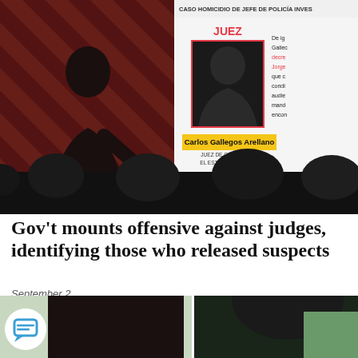[Figure (photo): News screenshot showing a government official pointing at a presentation slide. The slide shows a silhouette placeholder photo of a person labeled 'JUEZ' (Judge) with name badge 'Carlos Gallegos Arellano - JUEZ DE CONTROL EN EL ESTADO DE COLIMA'. The slide header reads 'CASO HOMICIDIO DE JEFE DE POLICIA INVESTI...' Audience members visible at the bottom.]
Gov't mounts offensive against judges, identifying those who released suspects
September 2
[Figure (photo): Bottom strip showing audience/press conference attendees from behind, with a chat/comment icon overlay on the left side.]